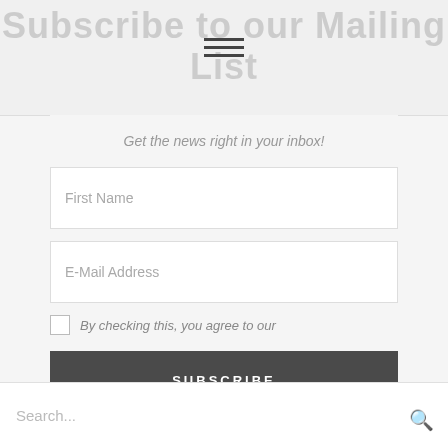Subscribe to our Mailing List
Get the news right in your inbox!
First Name
E-Mail Address
By checking this, you agree to our
SUBSCRIBE
Search...